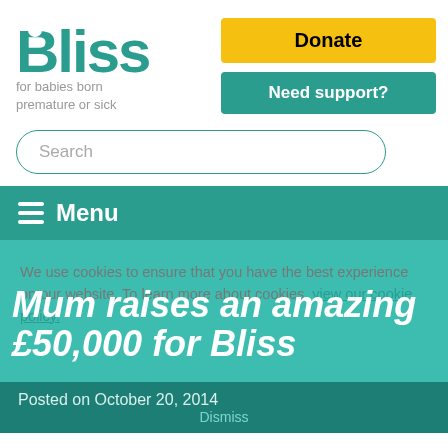[Figure (logo): Bliss charity logo — teal text 'Bliss' with dot on B, subtitle 'for babies born premature or sick']
[Figure (screenshot): Yellow 'Donate' button]
[Figure (screenshot): Teal 'Need support?' button]
[Figure (screenshot): Search box with placeholder text 'Search']
Menu
We use cookies to ensure that you have the best experience on our website. To learn more about cookies, view our cookie policy.
Mum raises an amazing £50,000 for Bliss
Posted on October 20, 2014
Dismiss